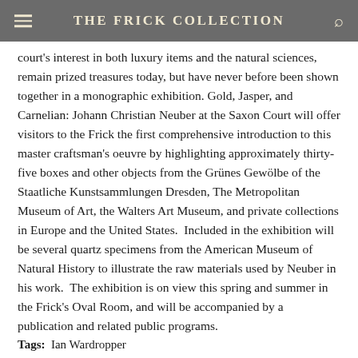THE FRICK COLLECTION
court's interest in both luxury items and the natural sciences, remain prized treasures today, but have never before been shown together in a monographic exhibition. Gold, Jasper, and Carnelian: Johann Christian Neuber at the Saxon Court will offer visitors to the Frick the first comprehensive introduction to this master craftsman's oeuvre by highlighting approximately thirty-five boxes and other objects from the Grünes Gewölbe of the Staatliche Kunstsammlungen Dresden, The Metropolitan Museum of Art, the Walters Art Museum, and private collections in Europe and the United States.  Included in the exhibition will be several quartz specimens from the American Museum of Natural History to illustrate the raw materials used by Neuber in his work.  The exhibition is on view this spring and summer in the Frick's Oval Room, and will be accompanied by a publication and related public programs.
Tags:  Ian Wardropper